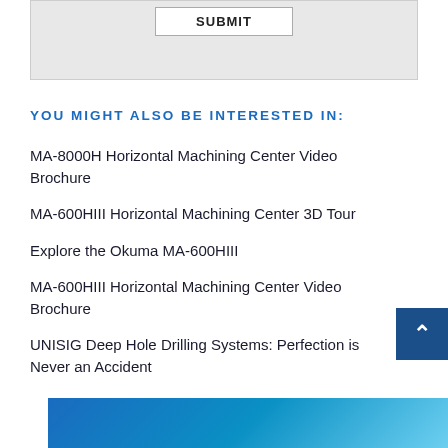[Figure (other): Form submission box with SUBMIT button on grey background]
YOU MIGHT ALSO BE INTERESTED IN:
MA-8000H Horizontal Machining Center Video Brochure
MA-600HIII Horizontal Machining Center 3D Tour
Explore the Okuma MA-600HIII
MA-600HIII Horizontal Machining Center Video Brochure
UNISIG Deep Hole Drilling Systems: Perfection is Never an Accident
[Figure (illustration): Blue gradient banner at bottom of page]